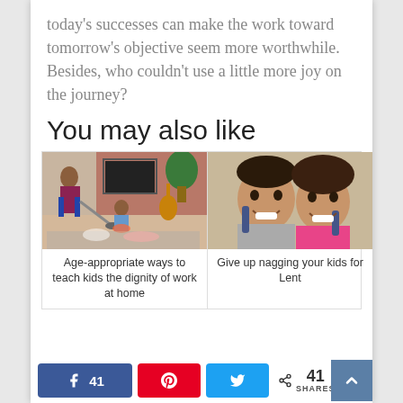today's successes can make the work toward tomorrow's objective seem more worthwhile. Besides, who couldn't use a little more joy on the journey?
You may also like
[Figure (photo): Woman vacuuming living room floor while young child plays with toys nearby, brick wall and guitar visible in background]
Age-appropriate ways to teach kids the dignity of work at home
[Figure (photo): Two smiling children with backpacks looking up at camera, boy and girl side by side]
Give up nagging your kids for Lent
41  SHARES